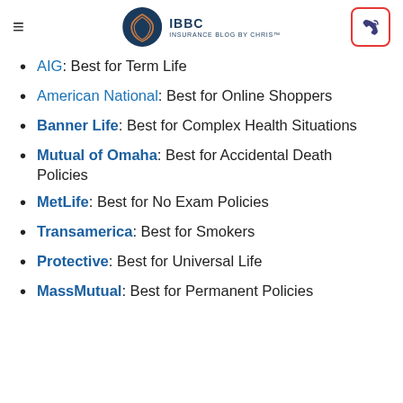IBBC INSURANCE BLOG BY CHRIS™
AIG: Best for Term Life
American National: Best for Online Shoppers
Banner Life: Best for Complex Health Situations
Mutual of Omaha: Best for Accidental Death Policies
MetLife: Best for No Exam Policies
Transamerica: Best for Smokers
Protective: Best for Universal Life
MassMutual: Best for Permanent Policies